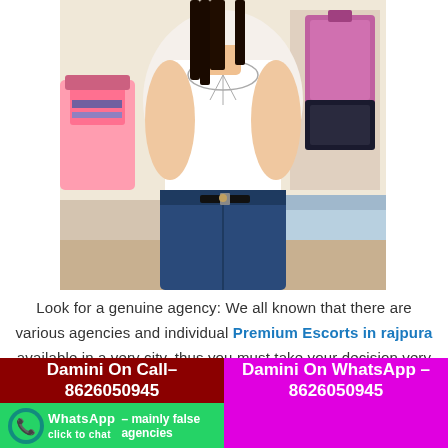[Figure (photo): Young woman in white sleeveless top and blue jeans sitting, photographed from neck down. Pink bag on left, pink luggage on right, bedroom setting.]
Look for a genuine agency: We all known that there are various agencies and individual Premium Escorts in rajpura available in a very city, thus you must take your decision very carefully. Always look for a reliable and trustworthy agency. In case you are hiring online check if the agency's website is updated and
Damini On Call– 8626050945
Damini On WhatsApp – 8626050945
WhatsApp click to chat – mainly false agencies